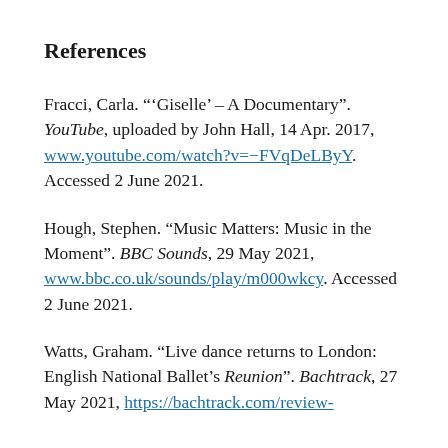References
Fracci, Carla. "'Giselle' – A Documentary". YouTube, uploaded by John Hall, 14 Apr. 2017, www.youtube.com/watch?v=−FVqDeLByY. Accessed 2 June 2021.
Hough, Stephen. "Music Matters: Music in the Moment". BBC Sounds, 29 May 2021, www.bbc.co.uk/sounds/play/m000wkcy. Accessed 2 June 2021.
Watts, Graham. "Live dance returns to London: English National Ballet's Reunion". Bachtrack, 27 May 2021, https://bachtrack.com/review-